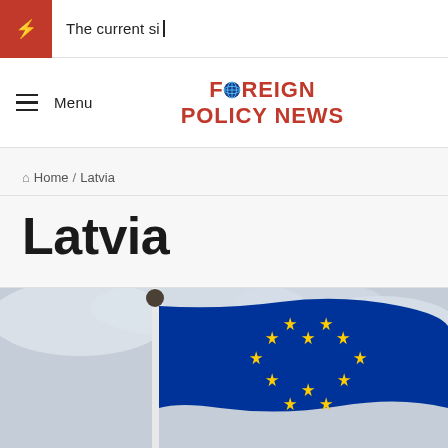The current si_
FOREIGN POLICY NEWS
Home / Latvia
Latvia
[Figure (photo): EU flag waving against a cloudy sky background, mounted on a white flagpole with a round finial. The flag shows the blue background with a circle of yellow stars.]